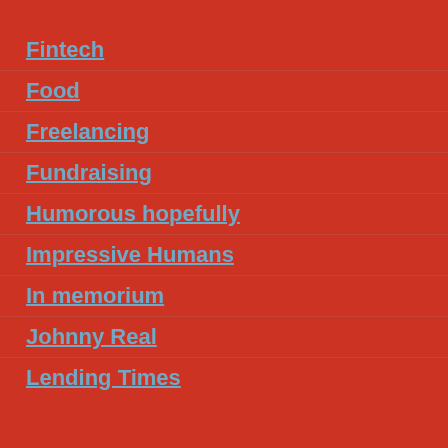Fintech
Food
Freelancing
Fundraising
Humorous hopefully
Impressive Humans
In memorium
Johnny Real
Lending Times